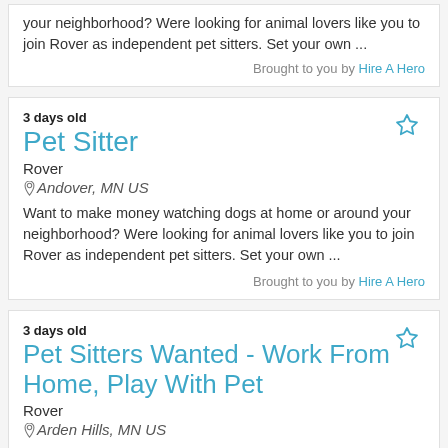your neighborhood? Were looking for animal lovers like you to join Rover as independent pet sitters. Set your own ...
Brought to you by Hire A Hero
3 days old
Pet Sitter
Rover
Andover, MN US
Want to make money watching dogs at home or around your neighborhood? Were looking for animal lovers like you to join Rover as independent pet sitters. Set your own ...
Brought to you by Hire A Hero
3 days old
Pet Sitters Wanted - Work From Home, Play With Pet
Rover
Arden Hills, MN US